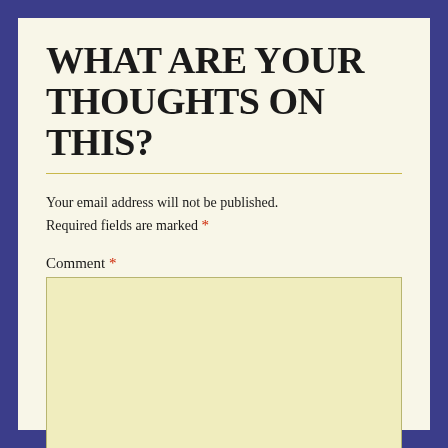WHAT ARE YOUR THOUGHTS ON THIS?
Your email address will not be published. Required fields are marked *
Comment *